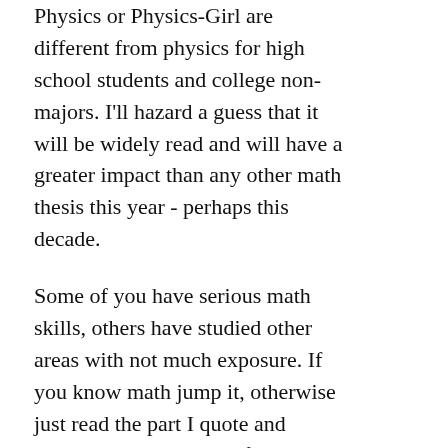Physics or Physics-Girl are different from physics for high school students and college non-majors. I'll hazard a guess that it will be widely read and will have a greater impact than any other math thesis this year - perhaps this decade.
Some of you have serious math skills, others have studied other areas with not much exposure. If you know math jump it, otherwise just read the part I quote and perhaps skim the paper for cartoons and structure … the point is not so much to read the paper as to understand what she is doing culturally.